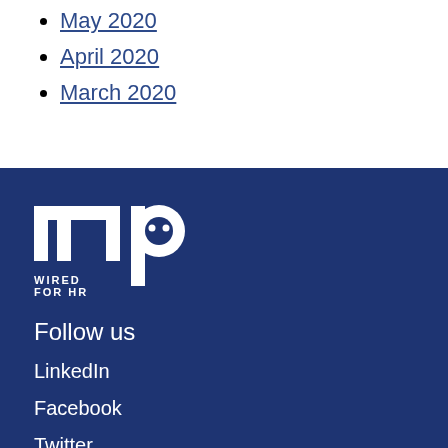May 2020
April 2020
March 2020
[Figure (logo): MP Wired for HR logo — white stylized 'mp' letters with dots on white eyes and text 'WIRED FOR HR' below, on dark navy background]
Follow us
LinkedIn
Facebook
Twitter